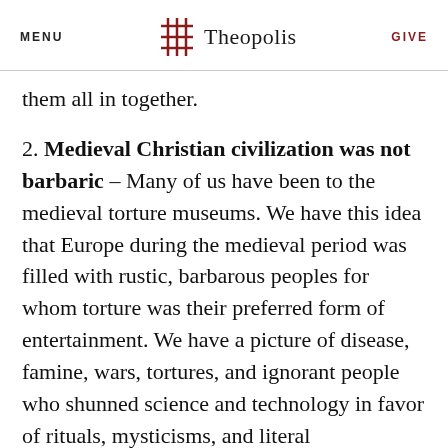MENU | Theopolis | GIVE
them all in together.
2. Medieval Christian civilization was not barbaric – Many of us have been to the medieval torture museums. We have this idea that Europe during the medieval period was filled with rustic, barbarous peoples for whom torture was their preferred form of entertainment. We have a picture of disease, famine, wars, tortures, and ignorant people who shunned science and technology in favor of rituals, mysticisms, and literal interpretations of the Bible. Well, again, what